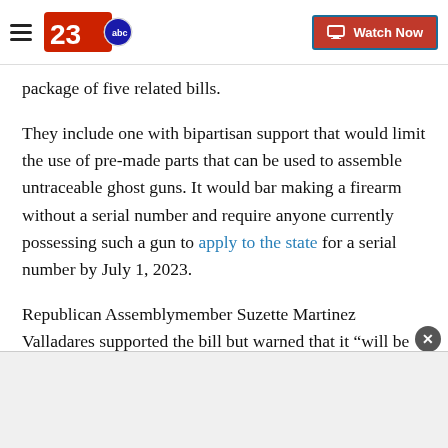23abc | Watch Now
package of five related bills.
They include one with bipartisan support that would limit the use of pre-made parts that can be used to assemble untraceable ghost guns. It would bar making a firearm without a serial number and require anyone currently possessing such a gun to apply to the state for a serial number by July 1, 2023.
Republican Assemblymember Suzette Martinez Valladares supported the bill but warned that it “will be meaningless” without a comprehensive approach that